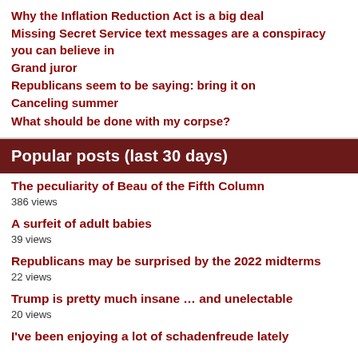Why the Inflation Reduction Act is a big deal
Missing Secret Service text messages are a conspiracy you can believe in
Grand juror
Republicans seem to be saying: bring it on
Canceling summer
What should be done with my corpse?
Popular posts (last 30 days)
The peculiarity of Beau of the Fifth Column
386 views
A surfeit of adult babies
39 views
Republicans may be surprised by the 2022 midterms
22 views
Trump is pretty much insane … and unelectable
20 views
I've been enjoying a lot of schadenfreude lately